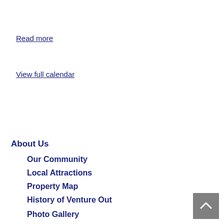Read more
View full calendar
About Us
Our Community
Local Attractions
Property Map
History of Venture Out
Photo Gallery